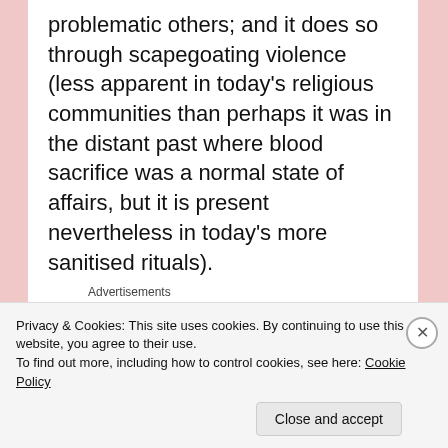problematic others; and it does so through scapegoating violence (less apparent in today's religious communities than perhaps it was in the distant past where blood sacrifice was a normal state of affairs, but it is present nevertheless in today's more sanitised rituals).
Advertisements
[Figure (other): WordPress VIP advertisement banner with gradient orange/pink background and 'Learn more →' button]
Religious communities have always had, at best,
Privacy & Cookies: This site uses cookies. By continuing to use this website, you agree to their use.
To find out more, including how to control cookies, see here: Cookie Policy
Close and accept